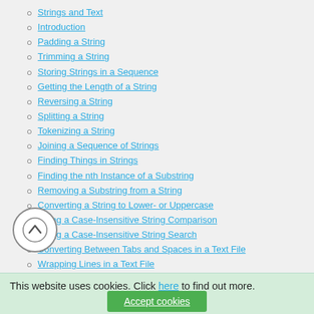Strings and Text
Introduction
Padding a String
Trimming a String
Storing Strings in a Sequence
Getting the Length of a String
Reversing a String
Splitting a String
Tokenizing a String
Joining a Sequence of Strings
Finding Things in Strings
Finding the nth Instance of a Substring
Removing a Substring from a String
Converting a String to Lower- or Uppercase
Doing a Case-Insensitive String Comparison
Doing a Case-Insensitive String Search
Converting Between Tabs and Spaces in a Text File
Wrapping Lines in a Text File
Counting the Number of Characters, Words, and Lines in a Text File
This website uses cookies. Click here to find out more.